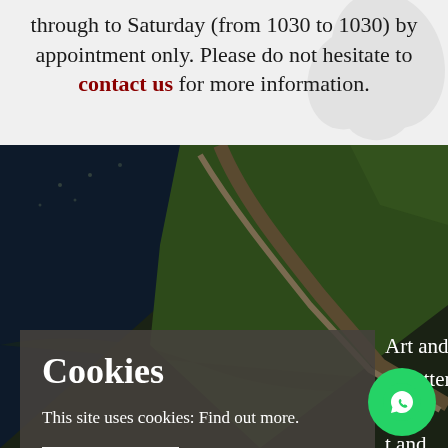through to Saturday (from 1030 to 1030) by appointment only. Please do not hesitate to contact us for more information.
[Figure (photo): Aerial photograph of a coastline or river delta with dark water and green land with paths/roads visible]
Cookies
This site uses cookies: Find out more.
Close notice
Art and
wsletter about t and views.
new and featured arrivals in our